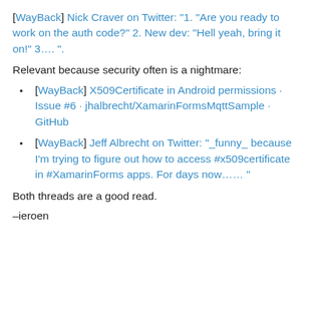[WayBack] Nick Craver on Twitter: "1. "Are you ready to work on the auth code?" 2. New dev: "Hell yeah, bring it on!" 3…. ".
Relevant because security often is a nightmare:
[WayBack] X509Certificate in Android permissions · Issue #6 · jhalbrecht/XamarinFormsMqttSample · GitHub
[WayBack] Jeff Albrecht on Twitter: "_funny_ because I'm trying to figure out how to access #x509certificate in #XamarinForms apps. For days now…… "
Both threads are a good read.
–ieroen